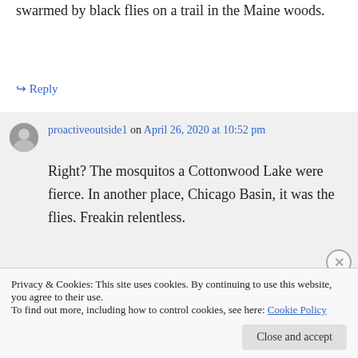swarmed by black flies on a trail in the Maine woods.
↪ Reply
proactiveoutside1 on April 26, 2020 at 10:52 pm
Right? The mosquitos a Cottonwood Lake were fierce. In another place, Chicago Basin, it was the flies. Freakin relentless.
Privacy & Cookies: This site uses cookies. By continuing to use this website, you agree to their use.
To find out more, including how to control cookies, see here: Cookie Policy
Close and accept